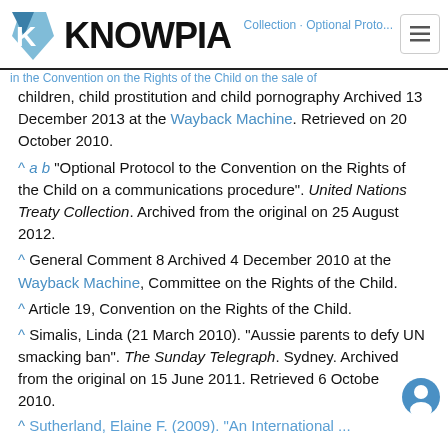KNOWPIA
children, child prostitution and child pornography Archived 13 December 2013 at the Wayback Machine. Retrieved on 20 October 2010.
^ a b "Optional Protocol to the Convention on the Rights of the Child on a communications procedure". United Nations Treaty Collection. Archived from the original on 25 August 2012.
^ General Comment 8 Archived 4 December 2010 at the Wayback Machine, Committee on the Rights of the Child.
^ Article 19, Convention on the Rights of the Child.
^ Simalis, Linda (21 March 2010). "Aussie parents to defy UN smacking ban". The Sunday Telegraph. Sydney. Archived from the original on 15 June 2011. Retrieved 6 October 2010.